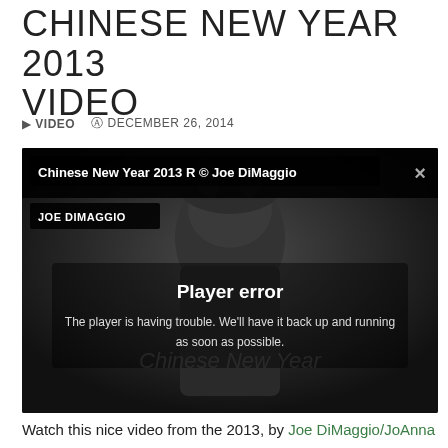CHINESE NEW YEAR 2013 VIDEO
▶ VIDEO  © DECEMBER 26, 2014
[Figure (screenshot): Video player showing 'Chinese New Year 2013 R © Joe DiMaggio' with a player error message. Background shows a black-and-white image of a person in traditional Chinese costume. The player displays 'Player error: The player is having trouble. We'll have it back up and running as soon as possible.']
Watch this nice video from the 2013, by Joe DiMaggio/JoAnna